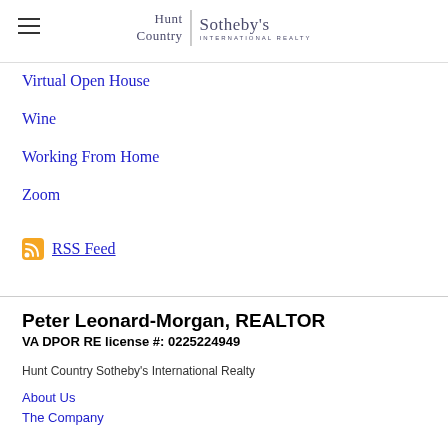Hunt Country | Sotheby's International Realty
Virtual Open House
Wine
Working From Home
Zoom
RSS Feed
Peter Leonard-Morgan, REALTOR
VA DPOR RE license #:  0225224949
Hunt Country Sotheby's International Realty
About Us
The Company